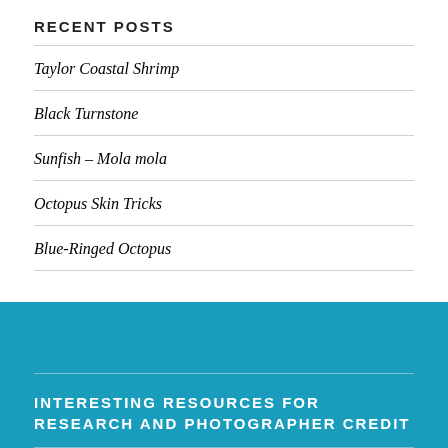RECENT POSTS
Taylor Coastal Shrimp
Black Turnstone
Sunfish – Mola mola
Octopus Skin Tricks
Blue-Ringed Octopus
INTERESTING RESOURCES FOR RESEARCH AND PHOTOGRAPHER CREDIT